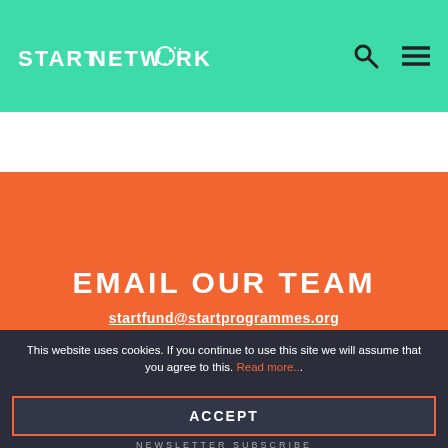START NETWORK
EMAIL OUR TEAM
startfund@startprogrammes.org
This website uses cookies. If you continue to use this site we will assume that you agree to this. Read more..
ACCEPT
NEWSLETTER SUBSCRIBE